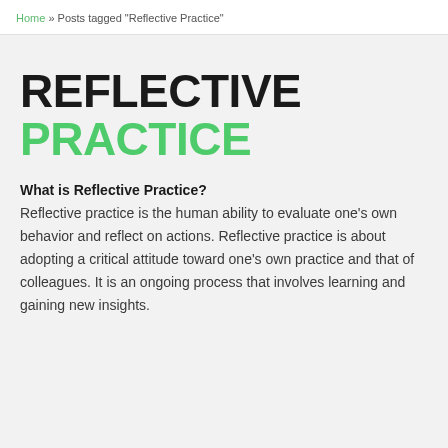Home » Posts tagged "Reflective Practice"
REFLECTIVE PRACTICE
What is Reflective Practice?
Reflective practice is the human ability to evaluate one's own behavior and reflect on actions. Reflective practice is about adopting a critical attitude toward one's own practice and that of colleagues. It is an ongoing process that involves learning and gaining new insights.